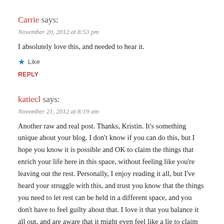Carrie says:
November 20, 2012 at 8:53 pm
I absolutely love this, and needed to hear it.
★ Like
REPLY
katiecl says:
November 21, 2012 at 8:19 am
Another raw and real post. Thanks, Kristin. It's something unique about your blog. I don't know if you can do this, but I hope you know it is possible and OK to claim the things that enrich your life here in this space, without feeling like you're leaving out the rest. Personally, I enjoy reading it all, but I've heard your struggle with this, and trust you know that the things you need to let rest can be held in a different space, and you don't have to feel guilty about that. I love it that you balance it all out, and are aware that it might even feel like a lie to claim only the good stuff. I hope you do what feels good to you.